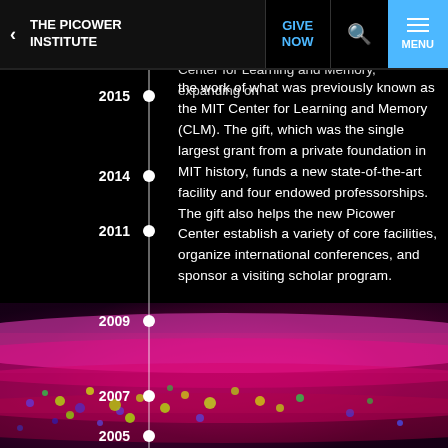THE PICOWER INSTITUTE
Center for Learning and Memory, expanding on the work of what was previously known as the MIT Center for Learning and Memory (CLM). The gift, which was the single largest grant from a private foundation in MIT history, funds a new state-of-the-art facility and four endowed professorships. The gift also helps the new Picower Center establish a variety of core facilities, organize international conferences, and sponsor a visiting scholar program.
[Figure (infographic): Vertical timeline with years 2015, 2014, 2011, 2009, 2007, 2005, 2002 marked with white dots on a vertical line against black background]
[Figure (photo): Fluorescence microscopy image of brain tissue showing layers of cells in pink, red, yellow-green and blue colors]